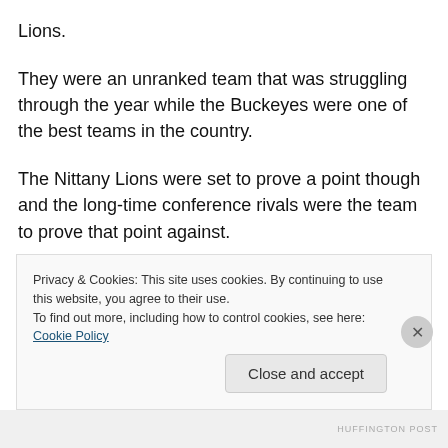Lions.
They were an unranked team that was struggling through the year while the Buckeyes were one of the best teams in the country.
The Nittany Lions were set to prove a point though and the long-time conference rivals were the team to prove that point against.
They did just that fighting them the entire way and eventually getting the points they needed to win the game
Privacy & Cookies: This site uses cookies. By continuing to use this website, you agree to their use.
To find out more, including how to control cookies, see here: Cookie Policy